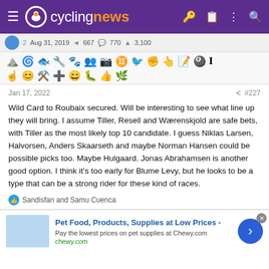cyclingnews
[Figure (screenshot): User info bar with avatar, date Aug 31, 2019, and stats 667, 770, 3,100]
[Figure (infographic): Emoji/reaction toolbar with various emoji icons in two rows]
Jan 17, 2022   #227
Wild Card to Roubaix secured. Will be interesting to see what line up they will bring. I assume Tiller, Resell and Wærenskjold are safe bets, with Tiller as the most likely top 10 candidate. I guess Niklas Larsen, Halvorsen, Anders Skaarseth and maybe Norman Hansen could be possible picks too. Maybe Hulgaard. Jonas Abrahamsen is another good option. I think it's too early for Blume Levy, but he looks to be a type that can be a strong rider for these kind of races.
Sandisfan and Samu Cuenca
[Figure (screenshot): Advertisement: Pet Food, Products, Supplies at Low Prices - chewy.com]